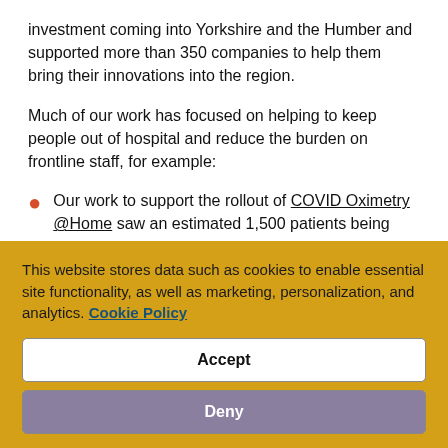investment coming into Yorkshire and the Humber and supported more than 350 companies to help them bring their innovations into the region.
Much of our work has focused on helping to keep people out of hospital and reduce the burden on frontline staff, for example:
Our work to support the rollout of COVID Oximetry @Home saw an estimated 1,500 patients being able to self-monitor their COVID symptoms with pulse oximeters and detect early signs of deterioration with
This website stores data such as cookies to enable essential site functionality, as well as marketing, personalization, and analytics. Cookie Policy
Accept
Deny